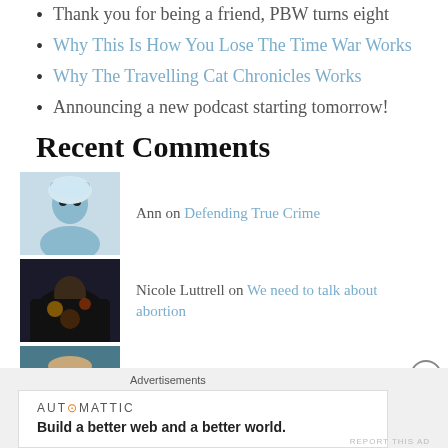Thank you for being a friend, PBW turns eight
Why This Is How You Lose The Time War Works
Why The Travelling Cat Chronicles Works
Announcing a new podcast starting tomorrow!
Recent Comments
Ann on Defending True Crime
Nicole Luttrell on We need to talk about abortion
annecreates on We need to talk about abortion
James Osborne on We need to talk about abortion
Advertisements
AUT⊙MATTIC — Build a better web and a better world.